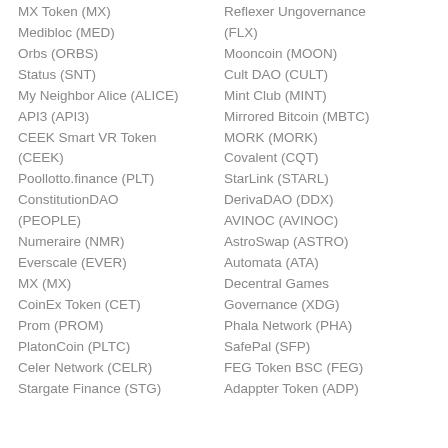MX Token (MX)
Medibloc (MED)
Orbs (ORBS)
Status (SNT)
My Neighbor Alice (ALICE)
API3 (API3)
CEEK Smart VR Token (CEEK)
Poollotto.finance (PLT)
ConstitutionDAO (PEOPLE)
Numeraire (NMR)
Everscale (EVER)
MX (MX)
CoinEx Token (CET)
Prom (PROM)
PlatonCoin (PLTC)
Celer Network (CELR)
Stargate Finance (STG)
Reflexer Ungovernance (FLX)
Mooncoin (MOON)
Cult DAO (CULT)
Mint Club (MINT)
Mirrored Bitcoin (MBTC)
MORK (MORK)
Covalent (CQT)
StarLink (STARL)
DerivaDAO (DDX)
AVINOC (AVINOC)
AstroSwap (ASTRO)
Automata (ATA)
Decentral Games Governance (XDG)
Phala Network (PHA)
SafePal (SFP)
FEG Token BSC (FEG)
Adappter Token (ADP)